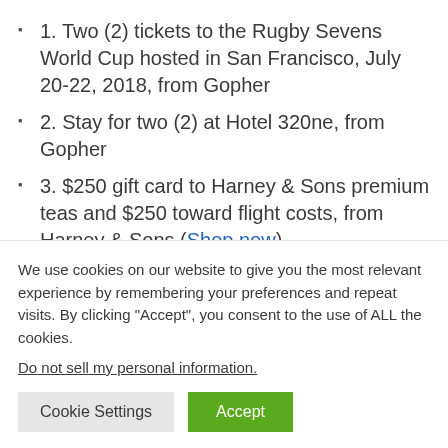1. Two (2) tickets to the Rugby Sevens World Cup hosted in San Francisco, July 20-22, 2018, from Gopher
2. Stay for two (2) at Hotel 320ne, from Gopher
3. $250 gift card to Harney & Sons premium teas and $250 toward flight costs, from Harney & Sons (Shop now)
5. $250 toward flight costs, from The…
We use cookies on our website to give you the most relevant experience by remembering your preferences and repeat visits. By clicking "Accept", you consent to the use of ALL the cookies.
Do not sell my personal information.